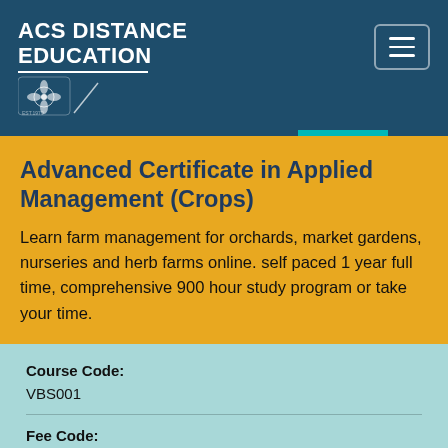ACS DISTANCE EDUCATION
Advanced Certificate in Applied Management (Crops)
Learn farm management for orchards, market gardens, nurseries and herb farms online. self paced 1 year full time, comprehensive 900 hour study program or take your time.
Course Code: VBS001
Fee Code: AC